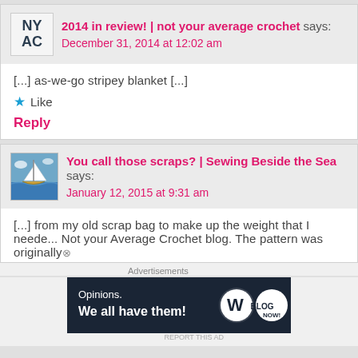2014 in review! | not your average crochet says:
December 31, 2014 at 12:02 am
[...] as-we-go stripey blanket [...]
Like
Reply
You call those scraps? | Sewing Beside the Sea says:
January 12, 2015 at 9:31 am
[...] from my old scrap bag to make up the weight that I neede... Not your Average Crochet blog. The pattern was originally...
Advertisements
[Figure (screenshot): WordPress advertisement banner: Opinions. We all have them!]